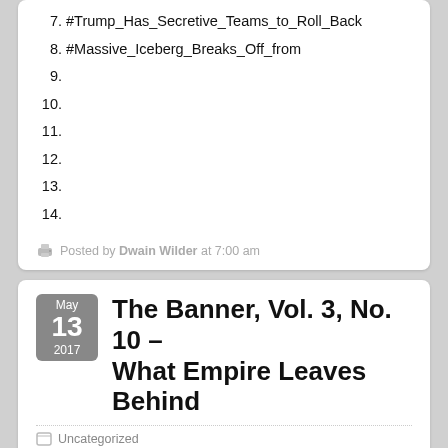7. #Trump_Has_Secretive_Teams_to_Roll_Back
8. #Massive_Iceberg_Breaks_Off_from
9.
10.
11.
12.
13.
14.
Posted by Dwain Wilder at 7:00 am
The Banner, Vol. 3, No. 10 – What Empire Leaves Behind
Uncategorized
Comments Off on The Banner, Vol. 3, No. 10 – What Empire Leaves Behind
March 7, 2017
The week was full of news of the intentions – and lack of attention – of